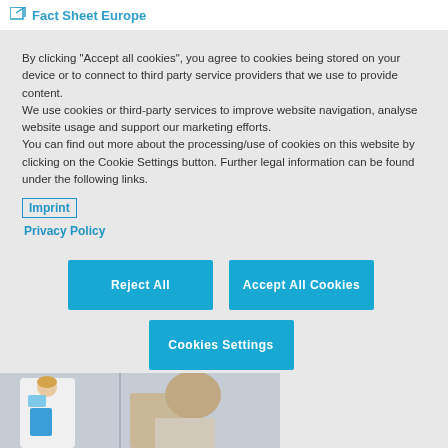Fact Sheet Europe
By clicking "Accept all cookies", you agree to cookies being stored on your device or to connect to third party service providers that we use to provide content.
We use cookies or third-party services to improve website navigation, analyse website usage and support our marketing efforts.
You can find out more about the processing/use of cookies on this website by clicking on the Cookie Settings button. Further legal information can be found under the following links.
Imprint
Privacy Policy
Reject All
Accept All Cookies
Cookies Settings
[Figure (photo): A doctor in a white coat holding a blue clipboard speaking with a patient]